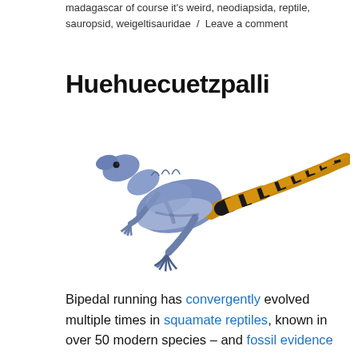madagascar of course it's weird, neodiapsida, reptile, sauropsid, weigeltisauridae / Leave a comment
Huehuecuetzpalli
[Figure (illustration): Artistic reconstruction of Huehuecuetzpalli, a bipedal lizard-like reptile with a blue-purple body and a long striped ochre and black tail, shown in a running pose against a white background.]
Bipedal running has convergently evolved multiple times in squamate reptiles, known in over 50 modern species – and fossil evidence